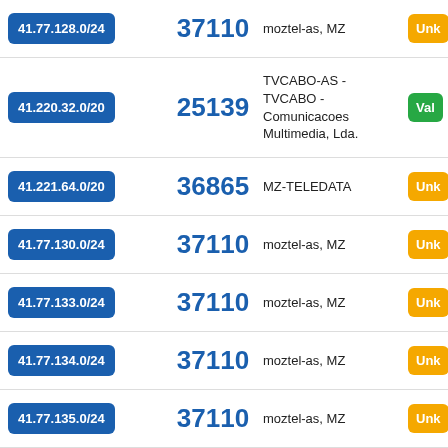| IP Range | ASN | Name | Status |
| --- | --- | --- | --- |
| 41.77.128.0/24 | 37110 | moztel-as, MZ | Unk |
| 41.220.32.0/20 | 25139 | TVCABO-AS - TVCABO - Comunicacoes Multimedia, Lda. | Val |
| 41.221.64.0/20 | 36865 | MZ-TELEDATA | Unk |
| 41.77.130.0/24 | 37110 | moztel-as, MZ | Unk |
| 41.77.133.0/24 | 37110 | moztel-as, MZ | Unk |
| 41.77.134.0/24 | 37110 | moztel-as, MZ | Unk |
| 41.77.135.0/24 | 37110 | moztel-as, MZ | Unk |